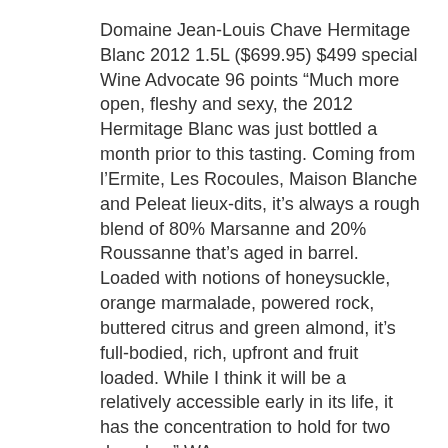Domaine Jean-Louis Chave Hermitage Blanc 2012 1.5L ($699.95) $499 special
Wine Advocate 96 points “Much more open, fleshy and sexy, the 2012 Hermitage Blanc was just bottled a month prior to this tasting. Coming from l’Ermite, Les Rocoules, Maison Blanche and Peleat lieux-dits, it’s always a rough blend of 80% Marsanne and 20% Roussanne that’s aged in barrel. Loaded with notions of honeysuckle, orange marmalade, powered rock, buttered citrus and green almond, it’s full-bodied, rich, upfront and fruit loaded. While I think it will be a relatively accessible early in its life, it has the concentration to hold for two decades.” WA
Josh Raynolds–Vinous 94-96 points “Tasted in single-site components from tanks as the wine awaited blending: #1, from Peleat: Ripe pear and honey aromas, with a suave floral accent and a hint of smoky minerals. At once rich and lively, showing excellent back-end power. #2, from Rocoules: Intense, mineral-accented citrus and